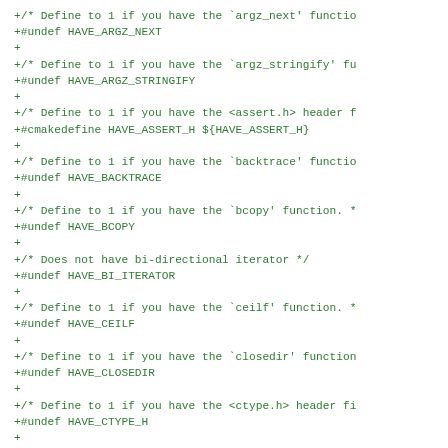+/* Define to 1 if you have the `argz_next' functio
+#undef HAVE_ARGZ_NEXT
+
+/* Define to 1 if you have the `argz_stringify' fu
+#undef HAVE_ARGZ_STRINGIFY
+
+/* Define to 1 if you have the <assert.h> header f
+#cmakedefine HAVE_ASSERT_H ${HAVE_ASSERT_H}
+
+/* Define to 1 if you have the `backtrace' functio
+#undef HAVE_BACKTRACE
+
+/* Define to 1 if you have the `bcopy' function. *
+#undef HAVE_BCOPY
+
+/* Does not have bi-directional iterator */
+#undef HAVE_BI_ITERATOR
+
+/* Define to 1 if you have the `ceilf' function. *
+#undef HAVE_CEILF
+
+/* Define to 1 if you have the `closedir' function
+#undef HAVE_CLOSEDIR
+
+/* Define to 1 if you have the <ctype.h> header fi
+#undef HAVE_CTYPE_H
+
+/* Define to 1 if you have the <dirent.h> header f
+    */
+#cmakedefine HAVE_DIRENT_H ${HAVE_DIRENT_H}